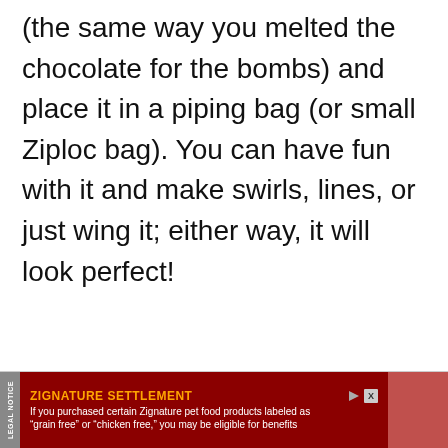(the same way you melted the chocolate for the bombs) and place it in a piping bag (or small Ziploc bag). You can have fun with it and make swirls, lines, or just wing it; either way, it will look perfect!
[Figure (other): Advertisement banner for Zignature Settlement legal notice. Dark red background with orange bold title 'ZIGNATURE SETTLEMENT', play and close buttons, and white body text: 'If you purchased certain Zignature pet food products labeled as "grain free" or "chicken free," you may be eligible for benefits'. Left side has a vertical 'LEGAL NOTICE' label in grey. Right side has a pink/red image area.]